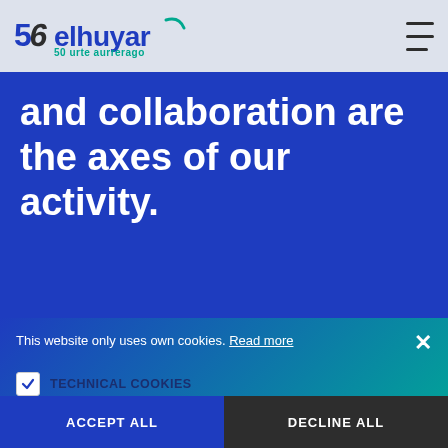[Figure (logo): Elhuyar foundation logo with '50 urte aurrerago' tagline and navigation hamburger menu on light blue-gray navbar]
and collaboration are the axes of our activity.
This website only uses own cookies. Read more
TECHNICAL COOKIES
SHOW DETAILS
ACCEPT ALL
DECLINE ALL